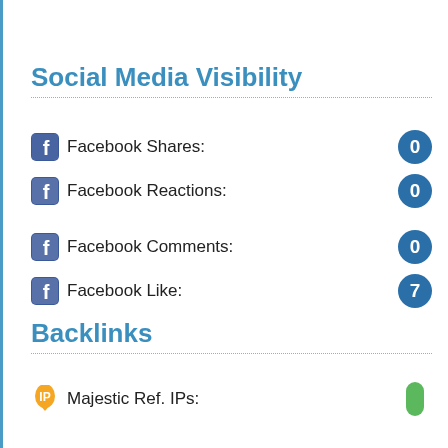Social Media Visibility
Facebook Shares: 0
Facebook Reactions: 0
Facebook Comments: 0
Facebook Like: 7
Backlinks
Majestic Ref. IPs: